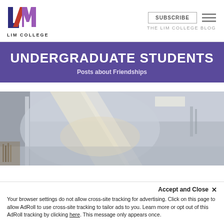LIM COLLEGE — SUBSCRIBE — THE LIM COLLEGE BLOG
UNDERGRADUATE STUDENTS
Posts about Friendships
[Figure (photo): Interior architectural photo of a modern building hallway with reflective surfaces, glass panels, and overhead lighting strips.]
Accept and Close ✕
Your browser settings do not allow cross-site tracking for advertising. Click on this page to allow AdRoll to use cross-site tracking to tailor ads to you. Learn more or opt out of this AdRoll tracking by clicking here. This message only appears once.